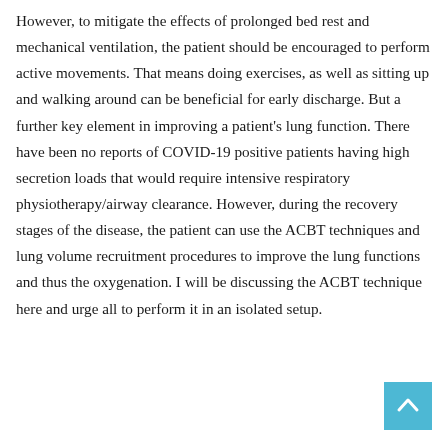However, to mitigate the effects of prolonged bed rest and mechanical ventilation, the patient should be encouraged to perform active movements. That means doing exercises, as well as sitting up and walking around can be beneficial for early discharge. But a further key element in improving a patient's lung function. There have been no reports of COVID-19 positive patients having high secretion loads that would require intensive respiratory physiotherapy/airway clearance. However, during the recovery stages of the disease, the patient can use the ACBT techniques and lung volume recruitment procedures to improve the lung functions and thus the oxygenation. I will be discussing the ACBT technique here and urge all to perform it in an isolated setup.